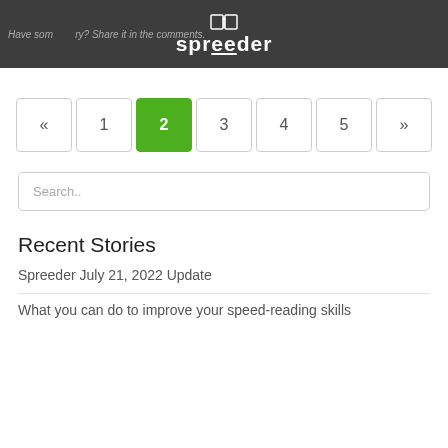Have some... ry? Share it in the comments.
« 1 2 3 4 5 »
Search..
Recent Stories
Spreeder July 21, 2022 Update
What you can do to improve your speed-reading skills